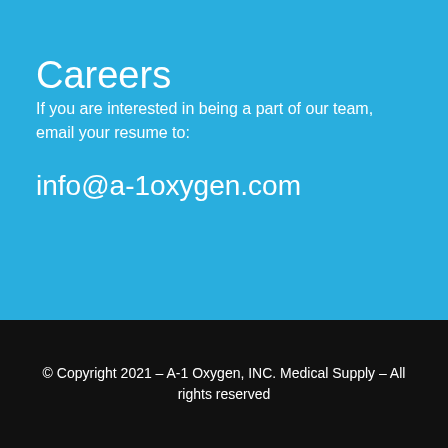Careers
If you are interested in being a part of our team, email your resume to:
info@a-1oxygen.com
© Copyright 2021 – A-1 Oxygen, INC. Medical Supply – All rights reserved